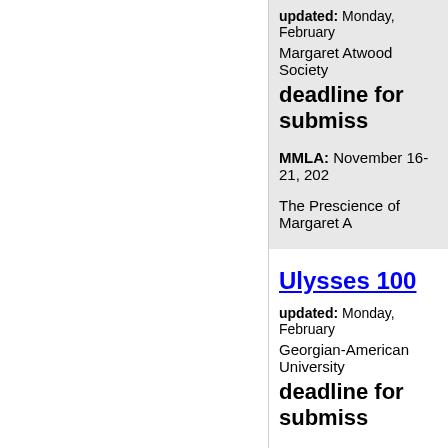updated: Monday, February
Margaret Atwood Society
deadline for submiss
MMLA: November 16-21, 202
The Prescience of Margaret A
Ulysses 100
updated: Monday, February
Georgian-American University
deadline for submiss
T.S. Eliot called Ulysses 'the m we are all indebted, and from read, discussed, translated, re philosophers, photographers,